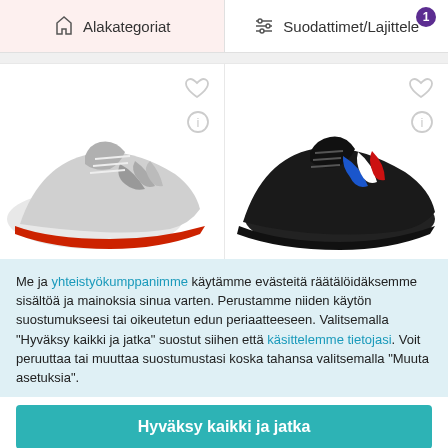Alakategoriat | Suodattimet/Lajittele
[Figure (photo): Two Adidas football/turf shoes side by side. Left shoe is white/grey with red sole detail. Right shoe is black with blue/white/red stripes.]
Me ja yhteistyökumppanimme käytämme evästeitä räätälöidäksemme sisältöä ja mainoksia sinua varten. Perustamme niiden käytön suostumukseesi tai oikeutetun edun periaatteeseen. Valitsemalla "Hyväksy kaikki ja jatka" suostut siihen että käsittelemme tietojasi. Voit peruuttaa tai muuttaa suostumustasi koska tahansa valitsemalla "Muuta asetuksia".
Hyväksy kaikki ja jatka
Muuta asetuksia
Hylkää kaikki